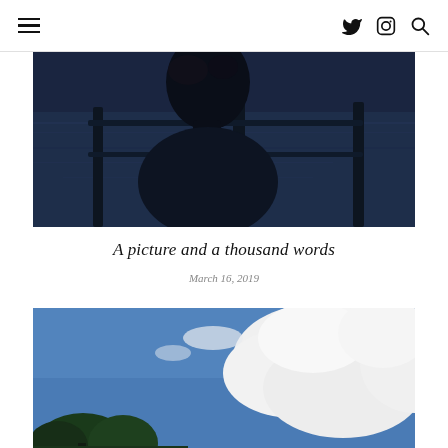≡  🐦  📷  🔍
[Figure (photo): Dark silhouette of a person's head viewed from behind, standing near a wooden fence/railing at dusk or night, with water visible in the background. Dark blue tones throughout.]
A picture and a thousand words
March 16, 2019
[Figure (photo): Upward looking view of a bright blue sky with large dramatic white clouds on the right side, and dark green treetops visible in the lower left corner.]